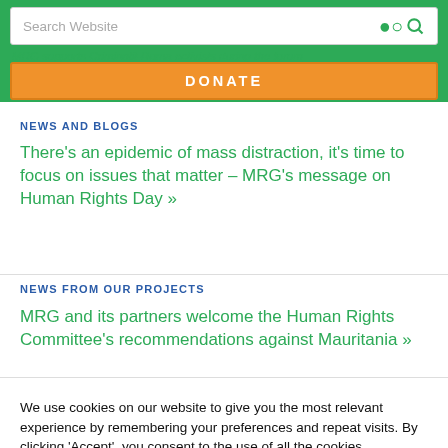Search Website | MRG supports Criminalit-Roma activists during the forum | DONATE
NEWS AND BLOGS
There’s an epidemic of mass distraction, it’s time to focus on issues that matter – MRG’s message on Human Rights Day »
NEWS FROM OUR PROJECTS
MRG and its partners welcome the Human Rights Committee’s recommendations against Mauritania »
We use cookies on our website to give you the most relevant experience by remembering your preferences and repeat visits. By clicking ‘Accept’, you consent to the use of all the cookies.
Cookie settings | ACCEPT